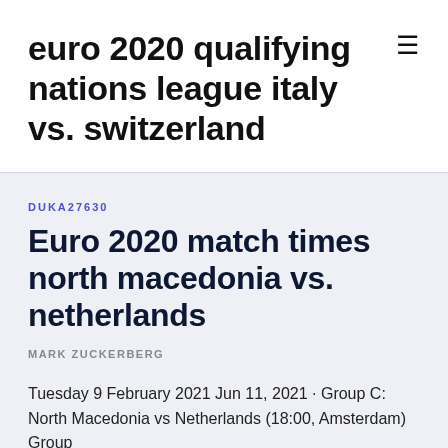euro 2020 qualifying nations league italy vs. switzerland
DUKA27630
Euro 2020 match times north macedonia vs. netherlands
MARK ZUCKERBERG
Tuesday 9 February 2021 Jun 11, 2021 · Group C: North Macedonia vs Netherlands (18:00, Amsterdam) Group